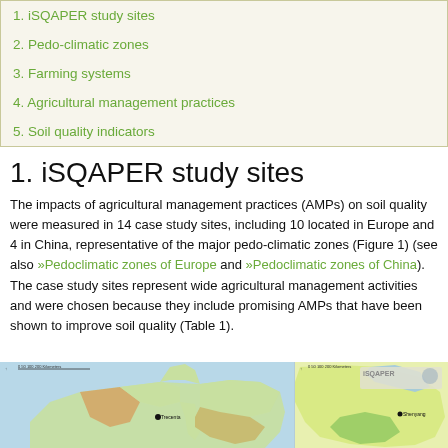1. iSQAPER study sites
2. Pedo-climatic zones
3. Farming systems
4. Agricultural management practices
5. Soil quality indicators
1. iSQAPER study sites
The impacts of agricultural management practices (AMPs) on soil quality were measured in 14 case study sites, including 10 located in Europe and 4 in China, representative of the major pedo-climatic zones (Figure 1) (see also »Pedoclimatic zones of Europe and »Pedoclimatic zones of China). The case study sites represent wide agricultural management activities and were chosen because they include promising AMPs that have been shown to improve soil quality (Table 1).
[Figure (map): Maps showing study sites in Europe and China with pedo-climatic zone overlays]